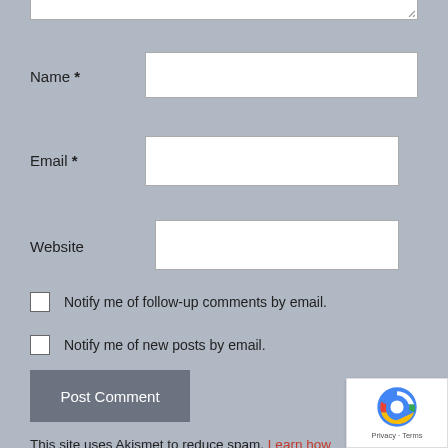[Figure (screenshot): Partial textarea input field at top of page, showing bottom edge with resize handle]
Name *
[Figure (screenshot): Name input text field]
Email *
[Figure (screenshot): Email input text field]
Website
[Figure (screenshot): Website input text field]
Notify me of follow-up comments by email.
Notify me of new posts by email.
[Figure (screenshot): Post Comment submit button]
This site uses Akismet to reduce spam. Learn how your comment data is processed.
[Figure (logo): reCAPTCHA badge showing Google reCAPTCHA logo with Privacy and Terms text]